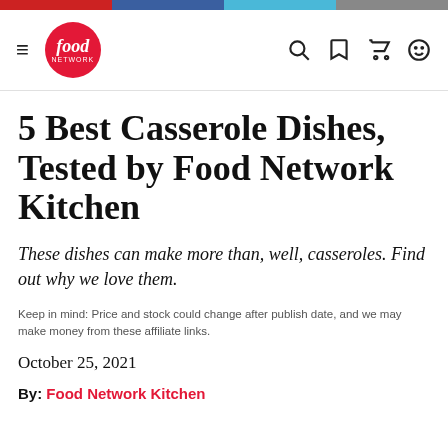Food Network navigation bar with colored top strip and logo
5 Best Casserole Dishes, Tested by Food Network Kitchen
These dishes can make more than, well, casseroles. Find out why we love them.
Keep in mind: Price and stock could change after publish date, and we may make money from these affiliate links.
October 25, 2021
By: Food Network Kitchen